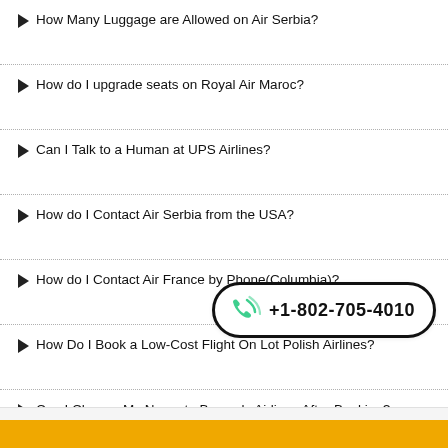How Many Luggage are Allowed on Air Serbia?
How do I upgrade seats on Royal Air Maroc?
Can I Talk to a Human at UPS Airlines?
How do I Contact Air Serbia from the USA?
How do I Contact Air France by Phone(Columbia)?
How Do I Book a Low-Cost Flight On Lot Polish Airlines?
Can I Change My Name to Brussels Airlines After Booking?
[Figure (infographic): Phone badge with green phone icon and number +1-802-705-4010 in a rounded rectangle border]